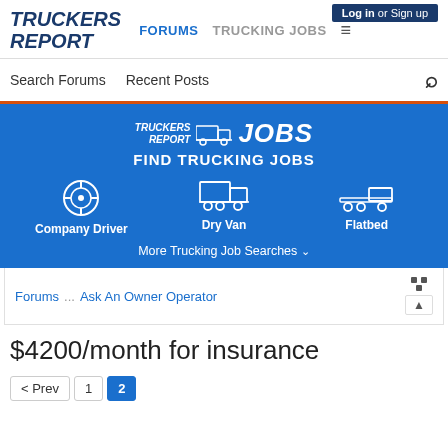TRUCKERS REPORT | FORUMS | TRUCKING JOBS | Log in or Sign up
Search Forums   Recent Posts
[Figure (screenshot): Truckers Report Jobs banner with logo, FIND TRUCKING JOBS heading, and three icons: Company Driver (steering wheel), Dry Van (box truck), Flatbed (flatbed truck), plus More Trucking Job Searches link]
Forums ... Ask An Owner Operator
$4200/month for insurance
< Prev  1  2